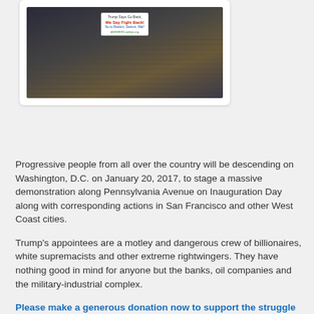[Figure (photo): Protest crowd carrying a sign reading 'Trump Says Go Back, We Say Fight Back! No to Racism, Sexism, War! ANSWERCoalition.org']
Progressive people from all over the country will be descending on Washington, D.C. on January 20, 2017, to stage a massive demonstration along Pennsylvania Avenue on Inauguration Day along with corresponding actions in San Francisco and other West Coast cities.
Trump's appointees are a motley and dangerous crew of billionaires, white supremacists and other extreme rightwingers. They have nothing good in mind for anyone but the banks, oil companies and the military-industrial complex.
Please make a generous donation now to support the struggle against racism, sexism, bigotry and the Trump agenda!
It is more important than ever that we keep building the grassroots movement against war, militarism, racism, anti-immigrant scapegoating and neoliberal capitalism's assault against workers'